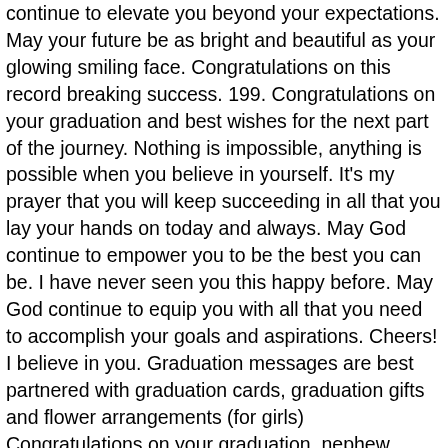continue to elevate you beyond your expectations. May your future be as bright and beautiful as your glowing smiling face. Congratulations on this record breaking success. 199. Congratulations on your graduation and best wishes for the next part of the journey. Nothing is impossible, anything is possible when you believe in yourself. It's my prayer that you will keep succeeding in all that you lay your hands on today and always. May God continue to empower you to be the best you can be. I have never seen you this happy before. May God continue to equip you with all that you need to accomplish your goals and aspirations. Cheers! I believe in you. Graduation messages are best partnered with graduation cards, graduation gifts and flower arrangements (for girls) Congratulations on your graduation, nephew. Congratulations to you, my one and only. 7. Your degree is not just a piece of paper. Well, I do. I hope you find joy in everything you do. Congratulations on your graduation, my sweetie pie. Congratulations on your achievements!" Congratulations on your graduation, cousin. Congratulations on your graduation, my dearest friend. Dear daughter, congrats on becoming a Graduate. Congratulations on your graduation, my lovely wife. Congratulations Message For Graduation For Son From The Parents: – Graduating from school/college is a great achievement, that each student expects a. graduation congratulations letter